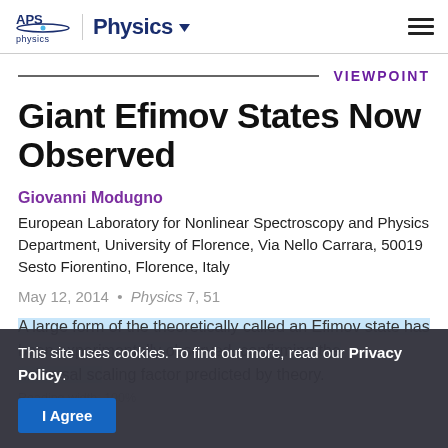APS Physics | Physics ▼
VIEWPOINT
Giant Efimov States Now Observed
Giovanni Modugno
European Laboratory for Nonlinear Spectroscopy and Physics Department, University of Florence, Via Nello Carrara, 50019 Sesto Fiorentino, Florence, Italy
May 12, 2014  •  Physics 7, 51
A large form of the theoretically predicted Efimov state has been experimentally observed, confirming the universal scaling factor predicted by theory.
This site uses cookies. To find out more, read our Privacy Policy.
I Agree
Reading width: 100%